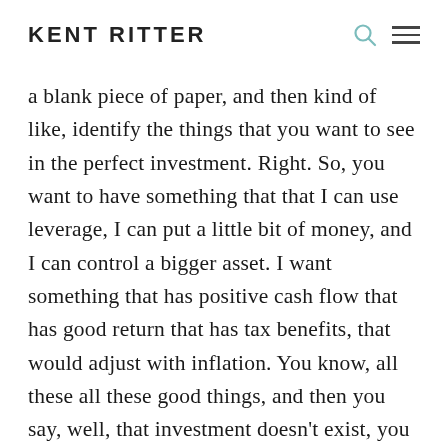KENT RITTER
a blank piece of paper, and then kind of like, identify the things that you want to see in the perfect investment. Right. So, you want to have something that that I can use leverage, I can put a little bit of money, and I can control a bigger asset. I want something that has positive cash flow that has good return that has tax benefits, that would adjust with inflation. You know, all these all these good things, and then you say, well, that investment doesn't exist, you know, but that's real estate rentals for you. So, it has all these advantages.